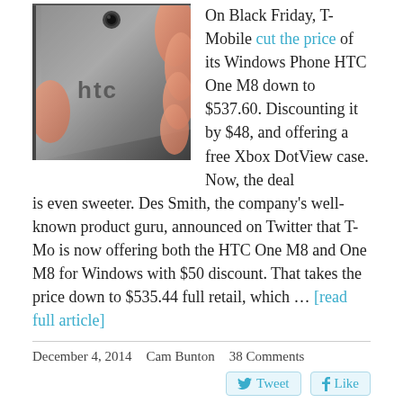[Figure (photo): Close-up photo of the back of an HTC smartphone being held in a hand, showing the HTC logo and camera lens.]
On Black Friday, T-Mobile cut the price of its Windows Phone HTC One M8 down to $537.60. Discounting it by $48, and offering a free Xbox DotView case. Now, the deal is even sweeter. Des Smith, the company's well-known product guru, announced on Twitter that T-Mo is now offering both the HTC One M8 and One M8 for Windows with $50 discount. That takes the price down to $535.44 full retail, which … [read full article]
December 4, 2014   Cam Bunton   38 Comments
T-Mobile's Black Friday deals